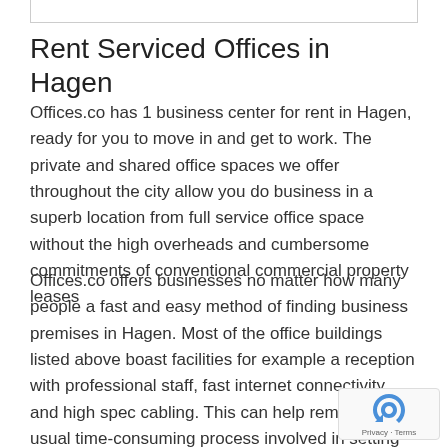Rent Serviced Offices in Hagen
Offices.co has 1 business center for rent in Hagen, ready for you to move in and get to work. The private and shared office spaces we offer throughout the city allow you do business in a superb location from full service office space without the high overheads and cumbersome commitments of conventional commercial property leases
Offices.co offers businesses no matter how many people a fast and easy method of finding business premises in Hagen. Most of the office buildings listed above boast facilities for example a reception with professional staff, fast internet connectivity and high spec cabling. This can help remove the usual time-consuming process involved in setting up an unfurnished office, and let you focus on things that you do best.